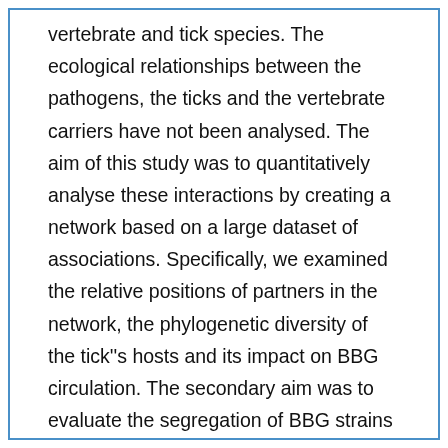vertebrate and tick species. The ecological relationships between the pathogens, the ticks and the vertebrate carriers have not been analysed. The aim of this study was to quantitatively analyse these interactions by creating a network based on a large dataset of associations. Specifically, we examined the relative positions of partners in the network, the phylogenetic diversity of the tick''s hosts and its impact on BBG circulation. The secondary aim was to evaluate the segregation of BBG strains in different vectors and reservoirs. Results: BBG circulates through a nested recursive network of ticks and vertebrates that